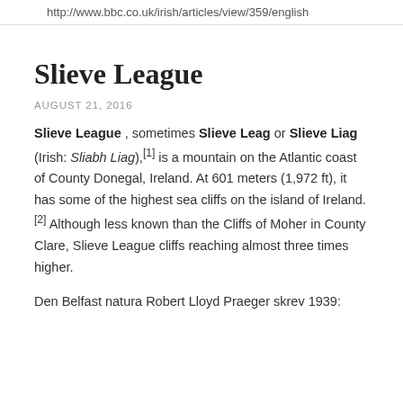http://www.bbc.co.uk/irish/articles/view/359/english
Slieve League
AUGUST 21, 2016
Slieve League , sometimes Slieve Leag or Slieve Liag (Irish: Sliabh Liag),[1] is a mountain on the Atlantic coast of County Donegal, Ireland. At 601 meters (1,972 ft), it has some of the highest sea cliffs on the island of Ireland.[2] Although less known than the Cliffs of Moher in County Clare, Slieve League cliffs reaching almost three times higher.
Den Belfast natura Robert Lloyd Praeger skrev 1939: